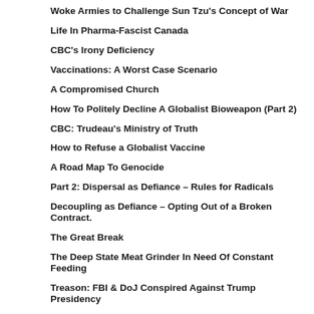Woke Armies to Challenge Sun Tzu's Concept of War
Life In Pharma-Fascist Canada
CBC's Irony Deficiency
Vaccinations: A Worst Case Scenario
A Compromised Church
How To Politely Decline A Globalist Bioweapon (Part 2)
CBC: Trudeau's Ministry of Truth
How to Refuse a Globalist Vaccine
A Road Map To Genocide
Part 2: Dispersal as Defiance – Rules for Radicals
Decoupling as Defiance – Opting Out of a Broken Contract.
The Great Break
The Deep State Meat Grinder In Need Of Constant Feeding
Treason: FBI & DoJ Conspired Against Trump Presidency
Terrorism in Canada: A Tale of Two Cities